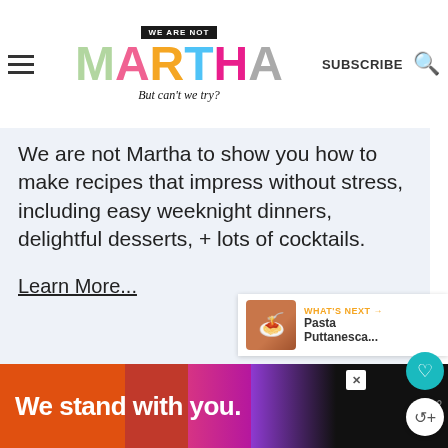WE ARE NOT MARTHA — But can't we try? | SUBSCRIBE
We are not Martha to show you how to make recipes that impress without stress, including easy weeknight dinners, delightful desserts, + lots of cocktails.
Learn More...
WHAT'S NEXT → Pasta Puttanesca...
We stand with you.